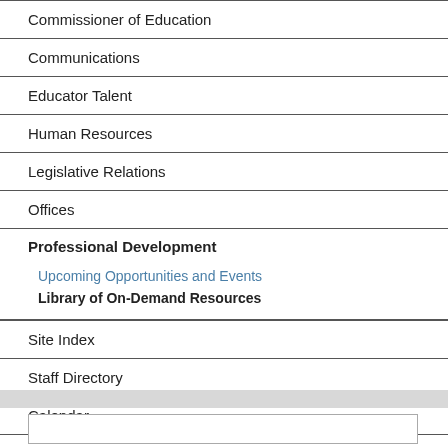Commissioner of Education
Communications
Educator Talent
Human Resources
Legislative Relations
Offices
Professional Development
Upcoming Opportunities and Events
Library of On-Demand Resources
Site Index
Staff Directory
Calendar
Contact Us